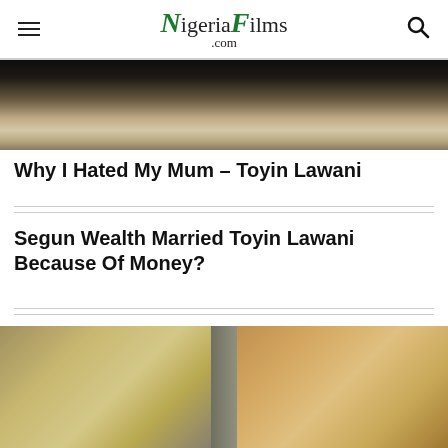NigeriaFilms.com
[Figure (photo): Close-up photo of a white lace wedding dress or fabric with intricate embroidery on a dark background]
Why I Hated My Mum – Toyin Lawani
Segun Wealth Married Toyin Lawani Because Of Money?
[Figure (photo): Photo of two people side by side: on the left a person in a white wig and traditional attire, on the right a woman with platinum blonde hair and pearl headband]